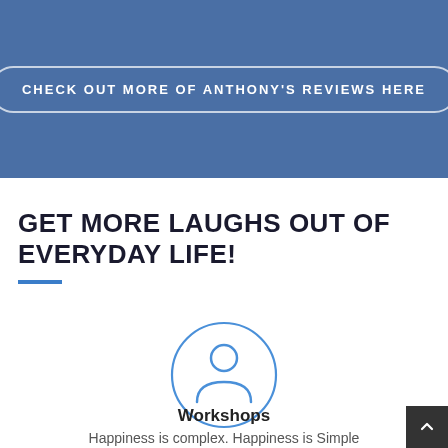[Figure (other): Blue banner background with a rounded-rectangle button outline containing the text CHECK OUT MORE OF ANTHONY'S REVIEWS HERE in white bold uppercase letters]
GET MORE LAUGHS OUT OF EVERYDAY LIFE!
[Figure (illustration): A circular outline icon containing a person/user silhouette icon drawn in blue, centered on the page]
Workshops
Happiness is complex. Happiness is Simple